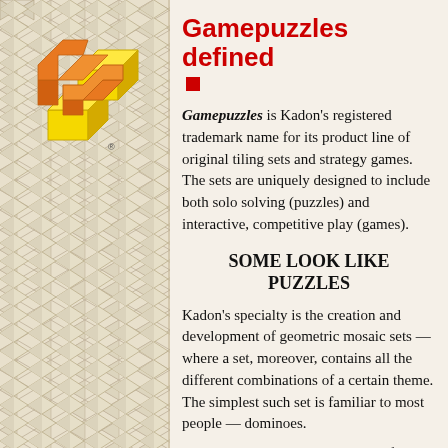[Figure (illustration): Kadon Enterprises logo: 3D yellow and orange interlocking puzzle pieces with registered trademark symbol, on a beige zigzag/chevron tiled background pattern]
Gamepuzzles defined
Gamepuzzles is Kadon's registered trademark name for its product line of original tiling sets and strategy games. The sets are uniquely designed to include both solo solving (puzzles) and interactive, competitive play (games).
SOME LOOK LIKE PUZZLES
Kadon's specialty is the creation and development of geometric mosaic sets — where a set, moreover, contains all the different combinations of a certain theme. The simplest such set is familiar to most people — dominoes.
Kadon does it with permutations of